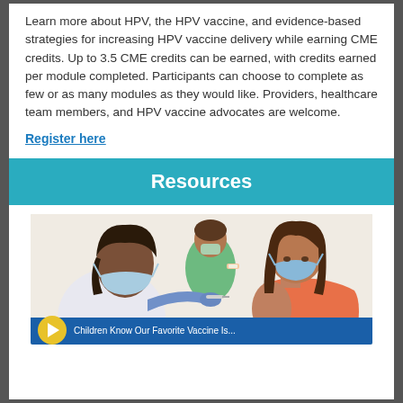Learn more about HPV, the HPV vaccine, and evidence-based strategies for increasing HPV vaccine delivery while earning CME credits. Up to 3.5 CME credits can be earned, with credits earned per module completed. Participants can choose to complete as few or as many modules as they would like. Providers, healthcare team members, and HPV vaccine advocates are welcome.
Register here
Resources
[Figure (illustration): Illustration of a healthcare worker in a blue mask giving a vaccine injection to a young girl wearing an orange top and blue mask, with a bandage on her upper arm. Another figure in a green top is visible in the background.]